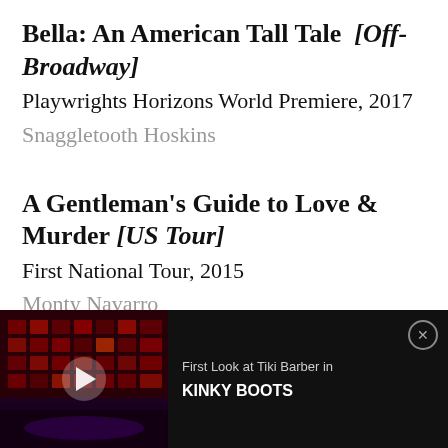Bella: An American Tall Tale [Off-Broadway]
Playwrights Horizons World Premiere, 2017
Snaggletooth Hoskins
A Gentleman's Guide to Love & Murder [US Tour]
First National Tour, 2015
Monty Navarro
[Figure (screenshot): Video advertisement banner at the bottom of the page. Dark background with a stage photo (red-lit theatrical set with grid of lights), a play button overlay, text reading 'First Look at Tiki Barber in KINKY BOOTS', and a close (X) button.]